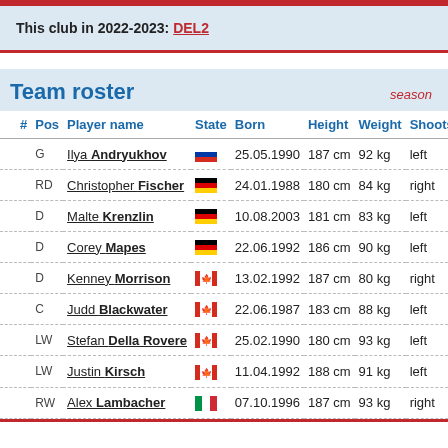This club in 2022-2023: DEL2
Team roster
| # | Pos | Player name | State | Born | Height | Weight | Shoots |
| --- | --- | --- | --- | --- | --- | --- | --- |
|  | G | Ilya Andryukhov | RUS | 25.05.1990 | 187 cm | 92 kg | left |
|  | RD | Christopher Fischer | GER | 24.01.1988 | 180 cm | 84 kg | right |
|  | D | Malte Krenzlin | GER | 10.08.2003 | 181 cm | 83 kg | left |
|  | D | Corey Mapes | GER | 22.06.1992 | 186 cm | 90 kg | left |
|  | D | Kenney Morrison | CAN | 13.02.1992 | 187 cm | 80 kg | right |
|  | C | Judd Blackwater | CAN | 22.06.1987 | 183 cm | 88 kg | left |
|  | LW | Stefan Della Rovere | CAN | 25.02.1990 | 180 cm | 93 kg | left |
|  | LW | Justin Kirsch | CAN | 11.04.1992 | 188 cm | 91 kg | left |
|  | RW | Alex Lambacher | ITA | 07.10.1996 | 187 cm | 93 kg | right |